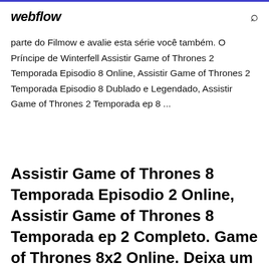webflow
parte do Filmow e avalie esta série você também. O Príncipe de Winterfell Assistir Game of Thrones 2 Temporada Episodio 8 Online, Assistir Game of Thrones 2 Temporada Episodio 8 Dublado e Legendado, Assistir Game of Thrones 2 Temporada ep 8 ...
Assistir Game of Thrones 8 Temporada Episodio 2 Online, Assistir Game of Thrones 8 Temporada ep 2 Completo. Game of Thrones 8x2 Online. Deixa um Comentário Cancelar